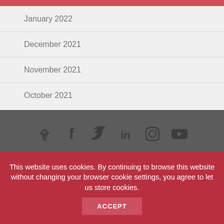January 2022
December 2021
November 2021
October 2021
[Figure (infographic): Social media icons: podcast, Facebook, Twitter, LinkedIn, Instagram, YouTube]
NEWSLETTER SIGN UP
This website uses cookies. By continuing to browse this website without changing your browser cookie settings, you agree to let us store cookies.
ACCEPT